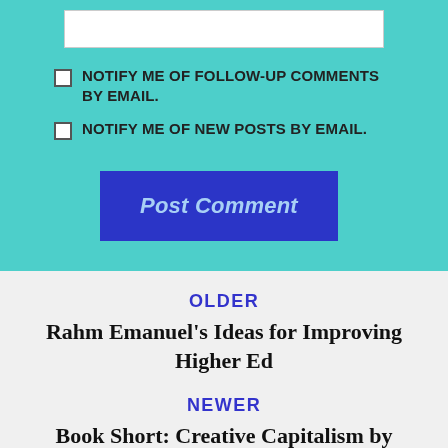[Figure (other): White input/text box (form field) on teal background]
NOTIFY ME OF FOLLOW-UP COMMENTS BY EMAIL.
NOTIFY ME OF NEW POSTS BY EMAIL.
Post Comment
OLDER
Rahm Emanuel's Ideas for Improving Higher Ed
NEWER
Book Short: Creative Capitalism by